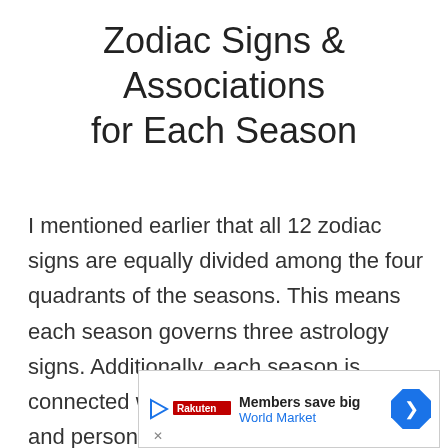Zodiac Signs & Associations for Each Season
I mentioned earlier that all 12 zodiac signs are equally divided among the four quadrants of the seasons. This means each season governs three astrology signs. Additionally, each season is connected with ruling planets, elements and personality  traits.  Below is a list of the four seasons, each of their zodiac signs and associations.
[Figure (other): Advertisement banner: Members save big, World Market, with play button icon, logo, and a blue diamond-shaped navigation arrow icon.]